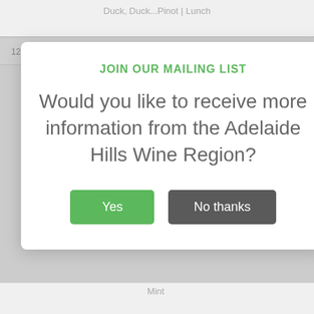Duck, Duck...Pinot | Lunch
12:00 – 17:00   Templewood House
JOIN OUR MAILING LIST
Would you like to receive more information from the Adelaide Hills Wine Region?
Yes   No thanks